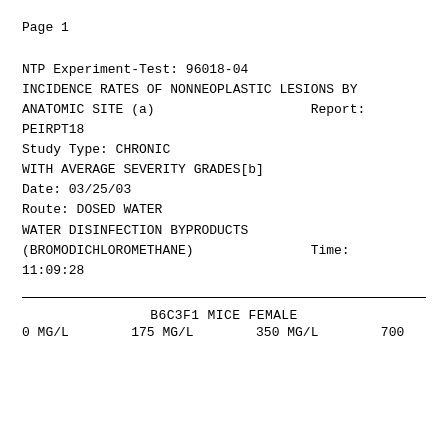Page    1
NTP Experiment-Test: 96018-04
INCIDENCE RATES OF NONNEOPLASTIC LESIONS BY
ANATOMIC SITE (a)                    Report:
PEIRPT18
Study Type: CHRONIC
WITH AVERAGE SEVERITY GRADES[b]
Date: 03/25/03
Route: DOSED WATER
WATER DISINFECTION BYPRODUCTS
(BROMODICHLOROMETHANE)               Time:
11:09:28
B6C3F1 MICE FEMALE
0 MG/L        175 MG/L        350 MG/L        700